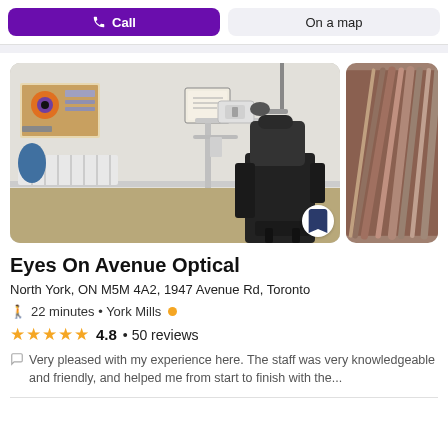[Figure (screenshot): Top bar with Call and On a map buttons]
[Figure (photo): Optometry exam room with slit lamp, examination chair, radiator, and eye care posters on the wall]
[Figure (photo): Partial view of a second photo, blurred feather-like texture in brown tones]
Eyes On Avenue Optical
North York, ON M5M 4A2, 1947 Avenue Rd, Toronto
22 minutes • York Mills
4.8 • 50 reviews
Very pleased with my experience here. The staff was very knowledgeable and friendly, and helped me from start to finish with the...